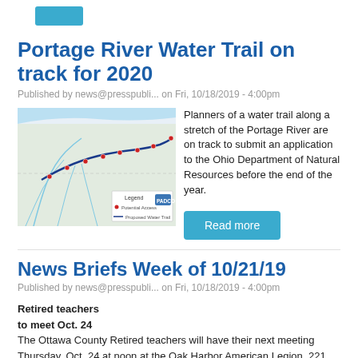Portage River Water Trail on track for 2020
Published by news@presspubli... on Fri, 10/18/2019 - 4:00pm
[Figure (map): Map showing the proposed Portage River Water Trail route with potential access points marked in red and the proposed water trail route in dark blue. A legend labels Potential Access and Proposed Water Trail.]
Planners of a water trail along a stretch of the Portage River are on track to submit an application to the Ohio Department of Natural Resources before the end of the year.
Read more
News Briefs Week of 10/21/19
Published by news@presspubli... on Fri, 10/18/2019 - 4:00pm
Retired teachers
to meet Oct. 24
The Ottawa County Retired teachers will have their next meeting Thursday, Oct. 24 at noon at the Oak Harbor American Legion, 221 W.